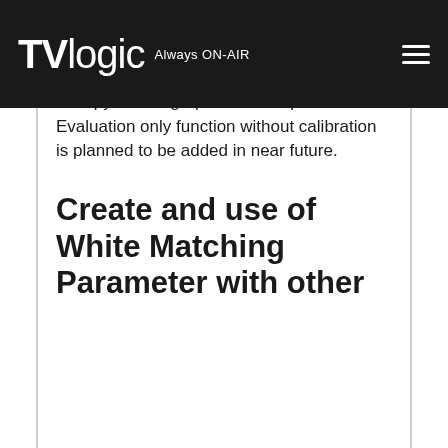TVLogic Always ON-AIR
or copy shown graphs to the clipboard. Evaluation only function without calibration is planned to be added in near future.
Create and use of White Matching Parameter with other